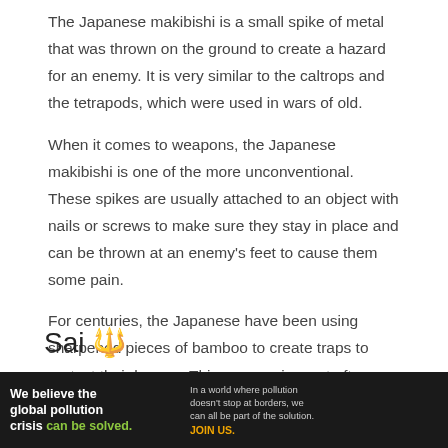The Japanese makibishi is a small spike of metal that was thrown on the ground to create a hazard for an enemy. It is very similar to the caltrops and the tetrapods, which were used in wars of old.
When it comes to weapons, the Japanese makibishi is one of the more unconventional. These spikes are usually attached to an object with nails or screws to make sure they stay in place and can be thrown at an enemy's feet to cause them some pain.
For centuries, the Japanese have been using sharpened pieces of bamboo to create traps to protect their homes. This weapon is most often used in an outdoor setting.
Sai 🔱
[Figure (photo): Photo of a sai weapon against a gray background, showing the dark handle/blade portion at the top.]
[Figure (other): Advertisement banner: 'We believe the global pollution crisis can be solved.' with Pure Earth logo. Text: 'In a world where pollution doesn't stop at borders, we can all be part of the solution. JOIN US.']